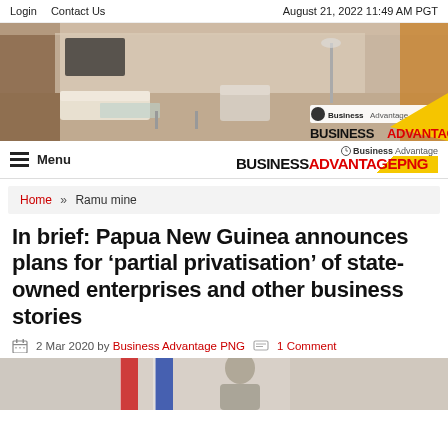Login  Contact Us    August 21, 2022 11:49 AM PGT
[Figure (photo): Banner photo of a modern office interior with white furniture, glass tables, and wooden accents. Business Advantage PNG logo with yellow triangle in lower right.]
Menu   BUSINESSADVANTAGEPNG
Home » Ramu mine
In brief: Papua New Guinea announces plans for ‘partial privatisation’ of state-owned enterprises and other business stories
2 Mar 2020 by Business Advantage PNG   1 Comment
[Figure (photo): Bottom portion of an image showing flags and a person, partially visible.]